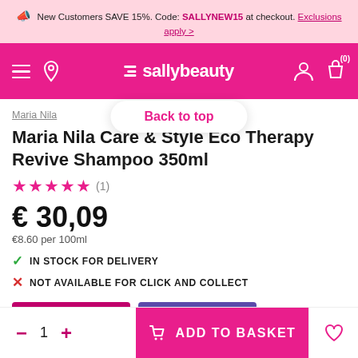New Customers SAVE 15%. Code: SALLYNEW15 at checkout. Exclusions apply >
[Figure (logo): Sally Beauty navigation bar with hamburger menu, location pin, Sally Beauty logo, user icon and cart (0)]
Back to top
Maria Nila
Maria Nila Care & Style Eco Therapy Revive Shampoo 350ml
★★★★★ (1)
€ 30,09
€8.60 per 100ml
✓ IN STOCK FOR DELIVERY
✗ NOT AVAILABLE FOR CLICK AND COLLECT
OFFER   EXCLUSIVE
- 1 + ADD TO BASKET ♡